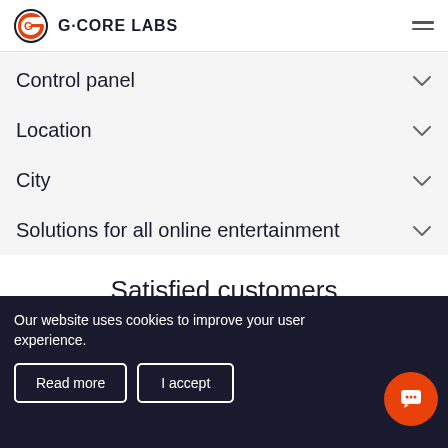[Figure (logo): G-Core Labs logo with orange G icon and text 'G·CORE LABS']
Control panel
Location
City
Solutions for all online entertainment
Satisfied customers
[Figure (screenshot): Partial blue card/testimonial image]
Our website uses cookies to improve your user experience.
Read more
I accept